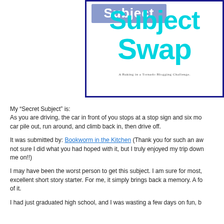[Figure (illustration): Book cover image with cyan text reading 'Subject Swap' and blue stamp overlay text, bordered with dark blue border. Subtitle reads 'A Baking in a Tornado Blogging Challenge.']
My “Secret Subject” is:
As you are driving, the car in front of you stops at a stop sign and six mo… car pile out, run around, and climb back in, then drive off.
It was submitted by: Bookworm in the Kitchen (Thank you for such an aw… not sure I did what you had hoped with it, but I truly enjoyed my trip down… me on!!)
I may have been the worst person to get this subject. I am sure for most, excellent short story starter. For me, it simply brings back a memory. A fo… of it.
I had just graduated high school, and I was wasting a few days on fun, b…